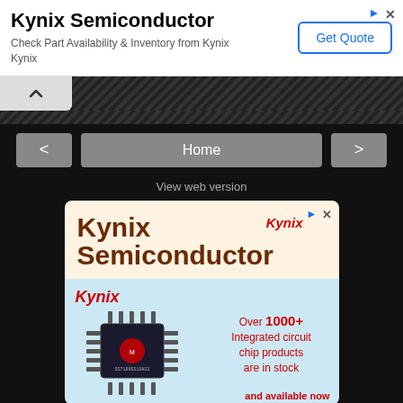[Figure (screenshot): Top advertisement banner for Kynix Semiconductor with Get Quote button and ad icons]
[Figure (screenshot): Dark navigation UI area with collapse tab, hatched divider bar, back/home/forward nav buttons, and View web version link]
[Figure (screenshot): Bottom advertisement for Kynix Semiconductor showing company logo, chip image, and text: Over 1000+ Integrated circuit chip products are in stock and available now]